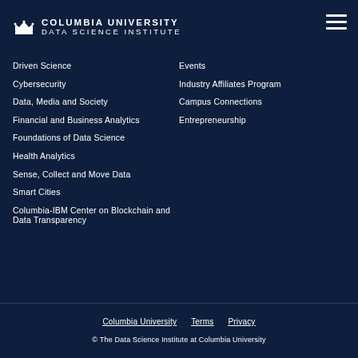[Figure (logo): Columbia University Data Science Institute logo with crown icon]
Driven Science
Cybersecurity
Data, Media and Society
Financial and Business Analytics
Foundations of Data Science
Health Analytics
Sense, Collect and Move Data
Smart Cities
Columbia-IBM Center on Blockchain and Data Transparency
Events
Industry Affiliates Program
Campus Connections
Entrepreneurship
Columbia University   Terms   Privacy
© The Data Science Institute at Columbia University